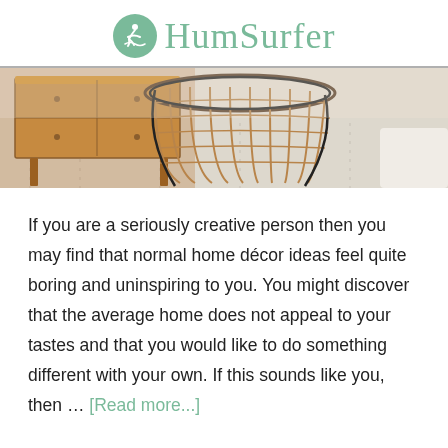HumSurfer
[Figure (photo): Interior scene showing a mid-century modern wooden sideboard on the left and a rattan/bamboo wire chair in the center on a patterned rug.]
If you are a seriously creative person then you may find that normal home décor ideas feel quite boring and uninspiring to you. You might discover that the average home does not appeal to your tastes and that you would like to do something different with your own. If this sounds like you, then … [Read more...]